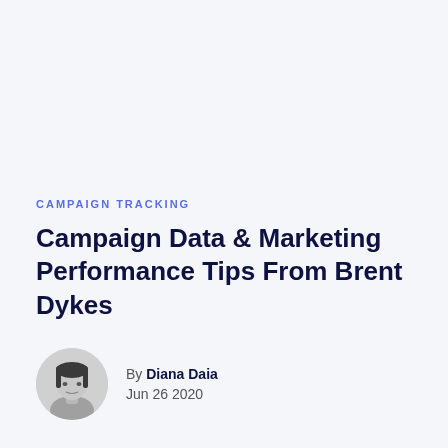CAMPAIGN TRACKING
Campaign Data & Marketing Performance Tips From Brent Dykes
By Diana Daia
Jun 26 2020